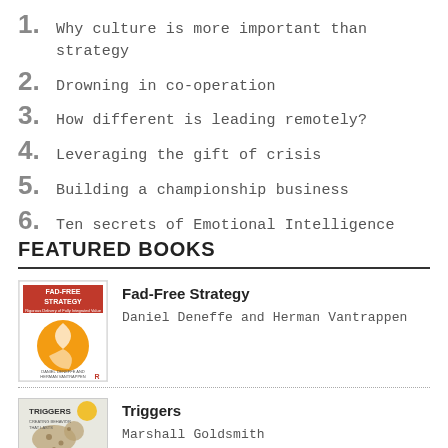1. Why culture is more important than strategy
2. Drowning in co-operation
3. How different is leading remotely?
4. Leveraging the gift of crisis
5. Building a championship business
6. Ten secrets of Emotional Intelligence
FEATURED BOOKS
Fad-Free Strategy
Daniel Deneffe and Herman Vantrappen
Triggers
Marshall Goldsmith